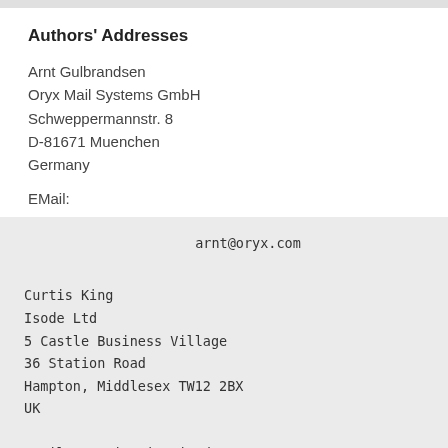Authors' Addresses
Arnt Gulbrandsen
Oryx Mail Systems GmbH
Schweppermannstr. 8
D-81671 Muenchen
Germany
EMail:
arnt@oryx.com

Curtis King
Isode Ltd
5 Castle Business Village
36 Station Road
Hampton, Middlesex  TW12 2BX
UK

EMail: Curtis.King@isode.com